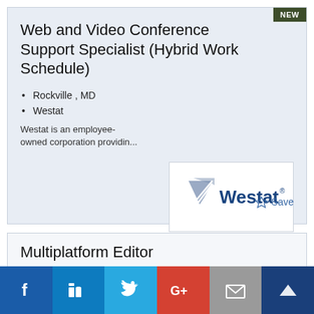Web and Video Conference Support Specialist (Hybrid Work Schedule)
Rockville , MD
Westat
Westat is an employee-owned corporation providin...
[Figure (logo): Westat company logo with triangular graphic and bold blue text]
Multiplatform Editor
Washington, DC